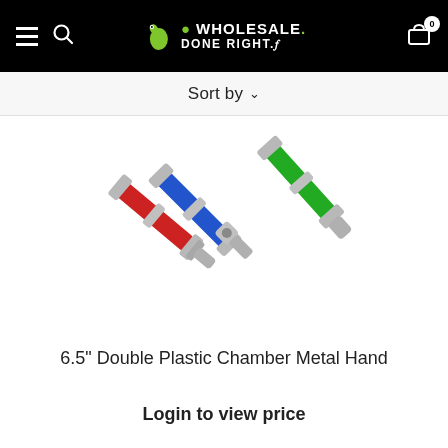Wholesale Done Right — navigation header with hamburger menu, search icon, logo, and cart (0)
Sort by ˅
[Figure (photo): Three colored double-chamber metal hand pipes (red, blue, green) with silver metal fittings shown diagonally on a white background.]
6.5" Double Plastic Chamber Metal Hand
Login to view price